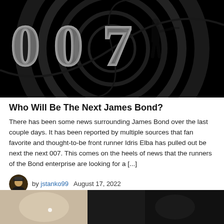[Figure (photo): 007 James Bond logo on dark background with gun barrel spiral and silhouette of a man with a gun]
Who Will Be The Next James Bond?
There has been some news surrounding James Bond over the last couple days. It has been reported by multiple sources that fan favorite and thought-to-be front runner Idris Elba has pulled out be next the next 007. This comes on the heels of news that the runners of the Bond enterprise are looking for a [...]
by jstanko99   August 17, 2022
[Figure (photo): Partial bottom photo showing what appears to be a person, cropped at bottom of page]